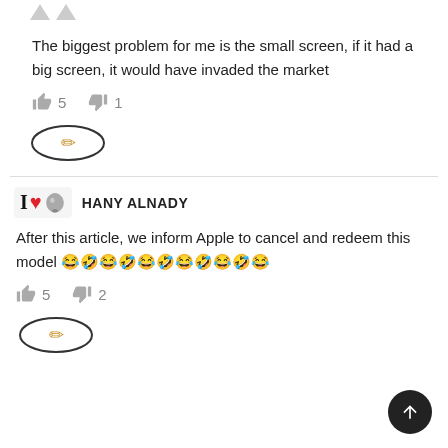[Figure (other): Two downward-pointing gray arrows (voting arrows)]
The biggest problem for me is the small screen, if it had a big screen, it would have invaded the market
👍 5   👎 1
[Figure (other): Pencil edit button enclosed in an oval border]
[Figure (other): User avatar: I ❤ Apple logo icon]
HANY ALNADY
After this article, we inform Apple to cancel and redeem this model 😂🤣😂🤣😂🤣😂🤣😂🤣😂
👍 5   👎 2
[Figure (other): Pencil edit button enclosed in an oval border]
[Figure (other): Scroll to top button - dark circle with upward arrow]